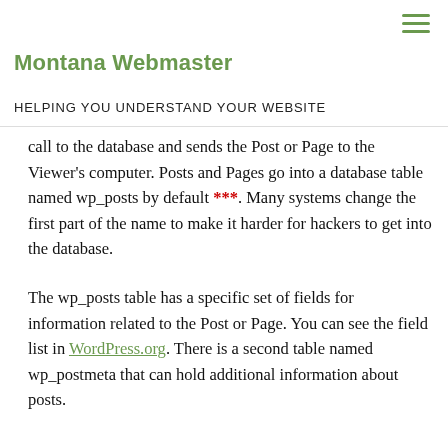Montana Webmaster
HELPING YOU UNDERSTAND YOUR WEBSITE
call to the database and sends the Post or Page to the Viewer's computer. Posts and Pages go into a database table named wp_posts by default ***. Many systems change the first part of the name to make it harder for hackers to get into the database.
The wp_posts table has a specific set of fields for information related to the Post or Page. You can see the field list in WordPress.org. There is a second table named wp_postmeta that can hold additional information about posts.